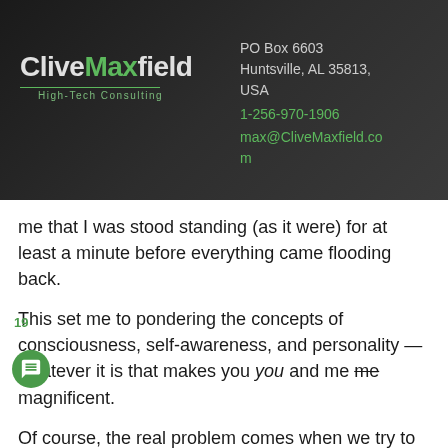[Figure (logo): CliveMaxfield High-Tech Consulting logo on dark background header]
PO Box 6603
Huntsville, AL 35813, USA
1-256-970-1906
max@CliveMaxfield.com
me that I was stood standing (as it were) for at least a minute before everything came flooding back.
This set me to pondering the concepts of consciousness, self-awareness, and personality — whatever it is that makes you you and me me magnificent.
19
Of course, the real problem comes when we try to define things like consciousness, self-